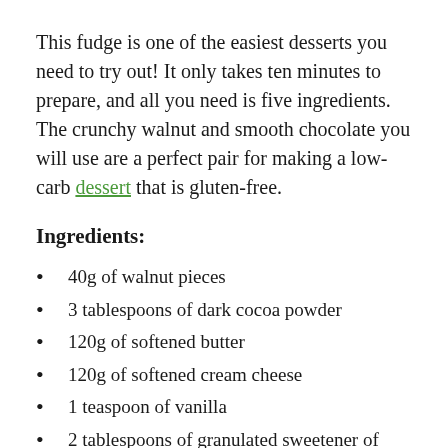This fudge is one of the easiest desserts you need to try out! It only takes ten minutes to prepare, and all you need is five ingredients. The crunchy walnut and smooth chocolate you will use are a perfect pair for making a low-carb dessert that is gluten-free.
Ingredients:
40g of walnut pieces
3 tablespoons of dark cocoa powder
120g of softened butter
120g of softened cream cheese
1 teaspoon of vanilla
2 tablespoons of granulated sweetener of